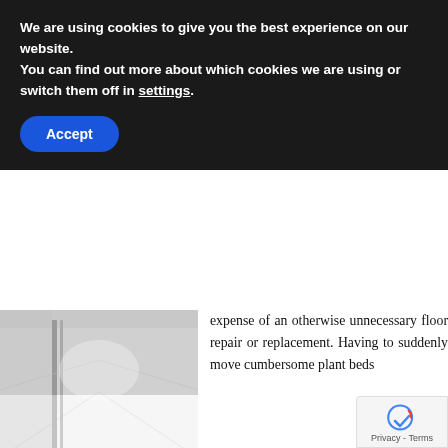We are using cookies to give you the best experience on our website.
You can find out more about which cookies we are using or switch them off in settings.
Accept
[Figure (photo): Interior hallway or grow room with white floor and walls, vertical metal poles/bars visible]
expense of an otherwise unnecessary floor repair or replacement. Having to suddenly move cumbersome plant beds and heavy pots in order to give workers access to the floor area can be headache. In addition, the unscheduled downtime and overall juggling of resources that invariably must take place make a strong case for investing in optimal grow room flooring from the start.
An excellent long-term value, professional-grade